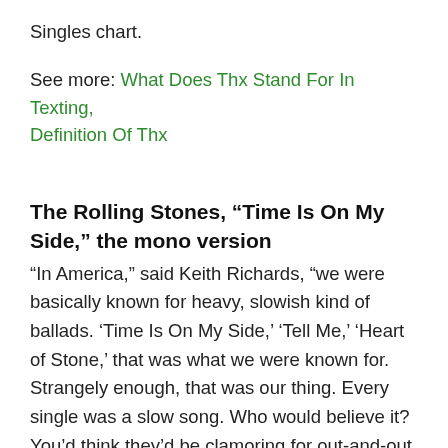Singles chart.
See more: What Does Thx Stand For In Texting, Definition Of Thx
The Rolling Stones, “Time Is On My Side,” the mono version
“In America,” said Keith Richards, “we were basically known for heavy, slowish kind of ballads. ‘Time Is On My Side,’ ‘Tell Me,’ ‘Heart of Stone,’ that was what we were known for. Strangely enough, that was our thing. Every single was a slow song. Who would believe it? You’d think they’d be clamoring for out-and-out rock and roll, but no, it was the soul ballads that happened for us in America.” The players on it were The Rolling Stones of 1964, with keyboardist Ian Stewart:<b>Mick Jagger</b>, vocals and